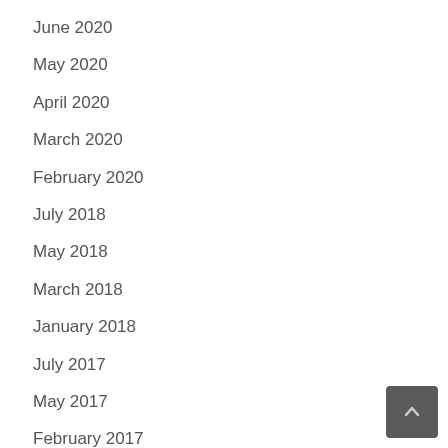June 2020
May 2020
April 2020
March 2020
February 2020
July 2018
May 2018
March 2018
January 2018
July 2017
May 2017
February 2017